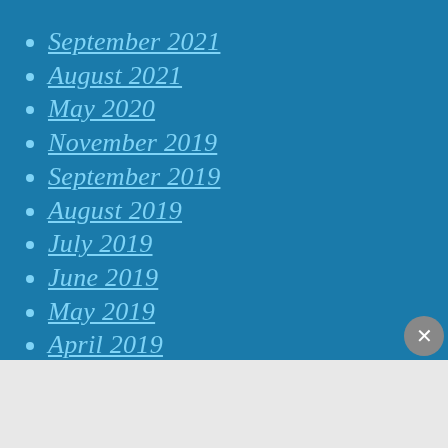September 2021
August 2021
May 2020
November 2019
September 2019
August 2019
July 2019
June 2019
May 2019
April 2019
March 2019
February 2019
January 2019
Advertisements
[Figure (screenshot): DuckDuckGo advertisement banner: Search, browse, and email with more privacy. All in One Free App. DuckDuckGo logo on dark background.]